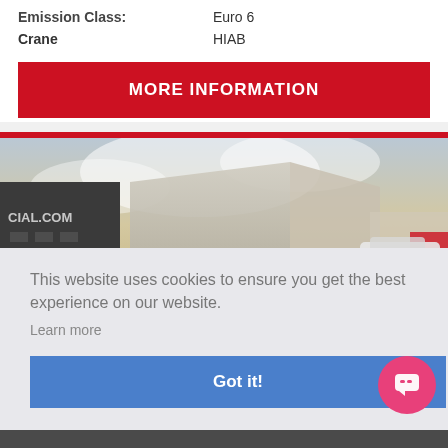| Emission Class: | Euro 6 |
| Crane | HIAB |
MORE INFORMATION
[Figure (photo): Dealership building exterior with cloudy sky, partial text 'CIAL.COM' visible on building]
This website uses cookies to ensure you get the best experience on our website. Learn more
Got it!